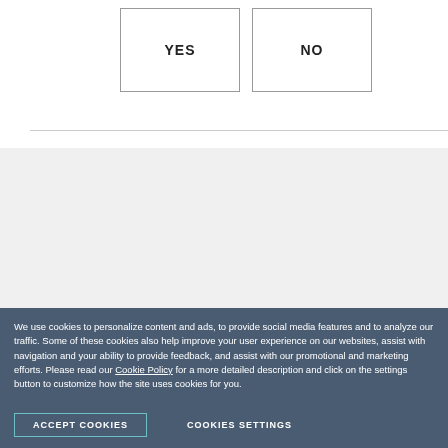[Figure (screenshot): YES and NO buttons side by side with borders, on white background with left vertical divider bar]
Next steps
REQUEST A DEMO
What's new  |  Privacy Center  |
We use cookies to personalize content and ads, to provide social media features and to analyze our traffic. Some of these cookies also help improve your user experience on our websites, assist with navigation and your ability to provide feedback, and assist with our promotional and marketing efforts. Please read our Cookie Policy for a more detailed description and click on the settings button to customize how the site uses cookies for you.
ACCEPT COOKIES
COOKIES SETTINGS